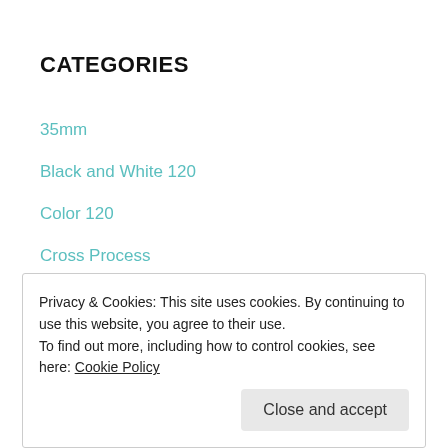CATEGORIES
35mm
Black and White 120
Color 120
Cross Process
News and Terms
Tips and Tricks
Privacy & Cookies: This site uses cookies. By continuing to use this website, you agree to their use.
To find out more, including how to control cookies, see here: Cookie Policy
Close and accept